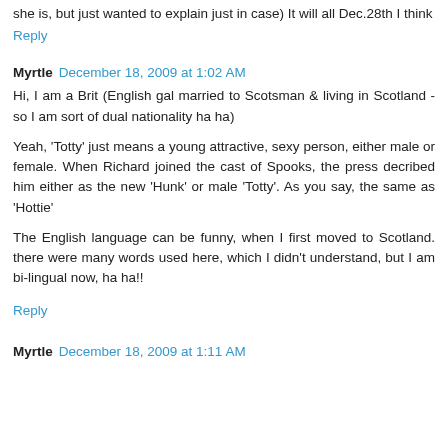she is, but just wanted to explain just in case) It will all Dec.28th I think
Reply
Myrtle  December 18, 2009 at 1:02 AM
Hi, I am a Brit (English gal married to Scotsman & living in Scotland - so I am sort of dual nationality ha ha)
Yeah, 'Totty' just means a young attractive, sexy person, either male or female. When Richard joined the cast of Spooks, the press decribed him either as the new 'Hunk' or male 'Totty'. As you say, the same as 'Hottie'
The English language can be funny, when I first moved to Scotland. there were many words used here, which I didn't understand, but I am bi-lingual now, ha ha!!
Reply
Myrtle  December 18, 2009 at 1:11 AM